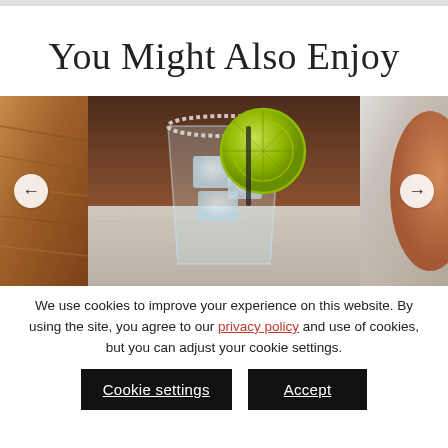You Might Also Enjoy
[Figure (photo): Carousel of cocktail photos: left shows a partial warm-toned wooden cutting board image, center shows a margarita glass with salt rim, ice, and a lime slice garnish on a marble surface, right shows a partial warm-toned cocktail image. Navigation arrows on left and right sides.]
We use cookies to improve your experience on this website. By using the site, you agree to our privacy policy and use of cookies, but you can adjust your cookie settings.
Cookie settings
Accept